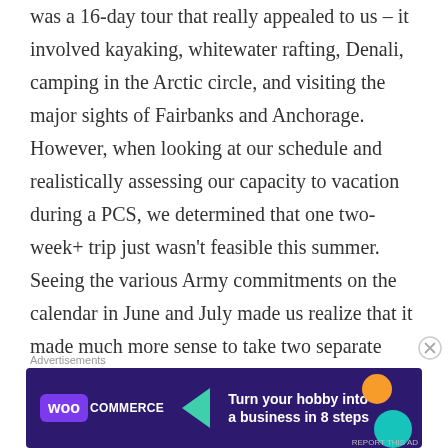was a 16-day tour that really appealed to us – it involved kayaking, whitewater rafting, Denali, camping in the Arctic circle, and visiting the major sights of Fairbanks and Anchorage. However, when looking at our schedule and realistically assessing our capacity to vacation during a PCS, we determined that one two-week+ trip just wasn't feasible this summer. Seeing the various Army commitments on the calendar in June and July made us realize that it made much more sense to take two separate weeklong trips, if we could make it work.
Advertisements
[Figure (other): WooCommerce advertisement banner with dark purple background, teal triangle arrow, orange and teal decorative circles, and text 'Turn your hobby into a business in 8 steps']